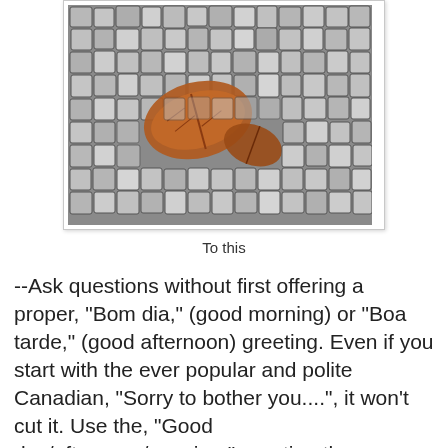[Figure (photo): Aerial/overhead view of cobblestone pavement with fallen autumn leaves resting between the stones. The stones are irregular grey/white cobbles set in sandy ground.]
To this
--Ask questions without first offering a proper, "Bom dia," (good morning) or "Boa tarde," (good afternoon) greeting. Even if you start with the ever popular and polite Canadian, "Sorry to bother you....", it won't cut it. Use the, "Good day/afternoon/evening," greeting then